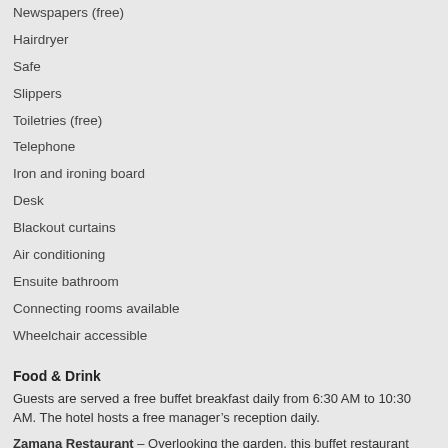Newspapers (free)
Hairdryer
Safe
Slippers
Toiletries (free)
Telephone
Iron and ironing board
Desk
Blackout curtains
Air conditioning
Ensuite bathroom
Connecting rooms available
Wheelchair accessible
Food & Drink
Guests are served a free buffet breakfast daily from 6:30 AM to 10:30 AM. The hotel hosts a free manager’s reception daily.
Zamana Restaurant – Overlooking the garden, this buffet restaurant specialises in Asian cuisine and serves breakfast, brunch, lunch and dinner. Open 24 hours.